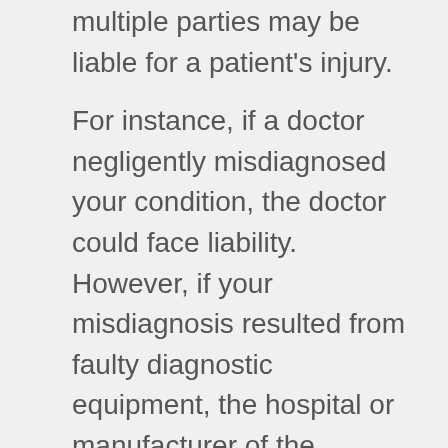multiple parties may be liable for a patient's injury.
For instance, if a doctor negligently misdiagnosed your condition, the doctor could face liability. However, if your misdiagnosis resulted from faulty diagnostic equipment, the hospital or manufacturer of the equipment could also be liable.
Other potentially liable parties include nurses and physician's assistants. During the lawsuit process, your attorney will fully investigate the case to identify all liable parties. This helps you get the maximum compensation possible.